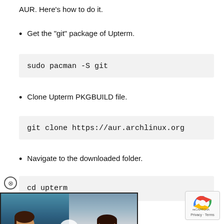AUR. Here’s how to do it.
Get the “git” package of Upterm.
sudo pacman -S git
Clone Upterm PKGBUILD file.
git clone https://aur.archlinux.org
Navigate to the downloaded folder.
cd upterm
[Figure (screenshot): Bloomberg video overlay showing two news anchors with a play button. Lower bar reads Bloomberg GOOGLE’S PRIVACY PROBLEM]
[Figure (logo): reCAPTCHA badge with Privacy and Terms text]